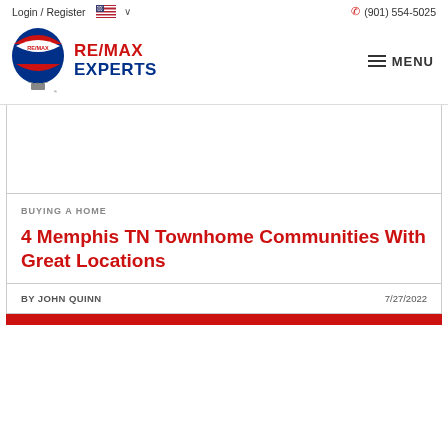Login / Register    (901) 554-5025
[Figure (logo): RE/MAX Experts logo with hot air balloon graphic and RE/MAX EXPERTS text, plus hamburger MENU button]
BUYING A HOME
4 Memphis TN Townhome Communities With Great Locations
BY JOHN QUINN    7/27/2022